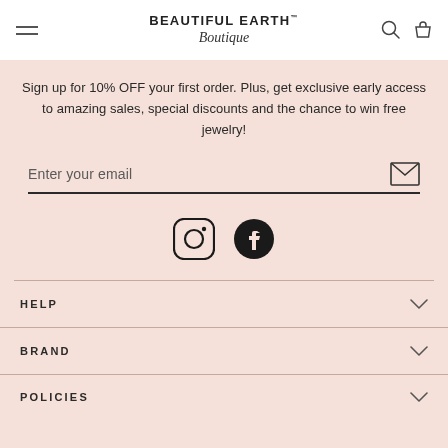BEAUTIFUL EARTH™ Boutique
Sign up for 10% OFF your first order. Plus, get exclusive early access to amazing sales, special discounts and the chance to win free jewelry!
Enter your email
[Figure (illustration): Instagram and Facebook social media icons]
HELP
BRAND
POLICIES